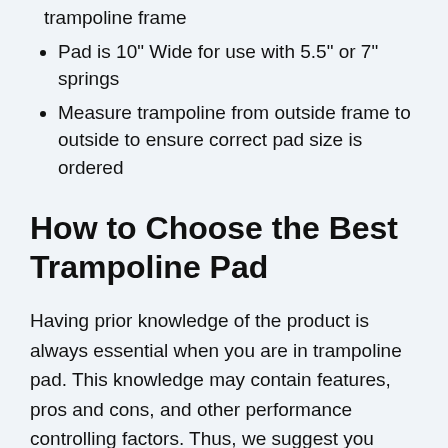trampoline frame
Pad is 10" Wide for use with 5.5" or 7" springs
Measure trampoline from outside frame to outside to ensure correct pad size is ordered
How to Choose the Best Trampoline Pad
Having prior knowledge of the product is always essential when you are in trampoline pad. This knowledge may contain features, pros and cons, and other performance controlling factors. Thus, we suggest you know the pricing level of the product compared to its usefulness for a happy purchase.